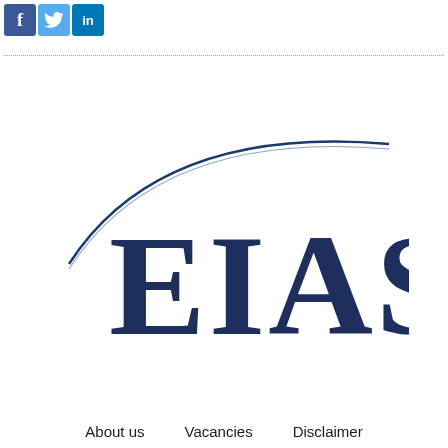[Figure (logo): Social media icons: Facebook (blue f), Twitter (blue bird), LinkedIn (blue in)]
[Figure (logo): EIAS logo with large dark navy blue serif text 'EIAS' and a swooping arc/curve graphic above it in blue gradient]
About us   Vacancies   Disclaimer